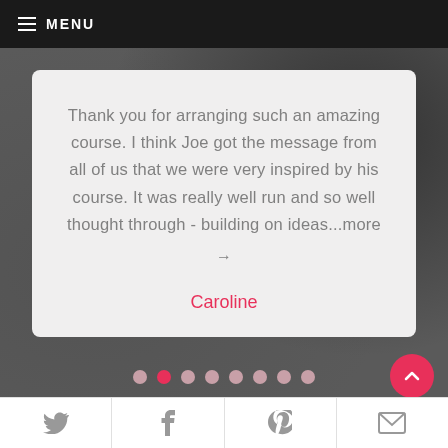MENU
Thank you for arranging such an amazing course. I think Joe got the message from all of us that we were very inspired by his course. It was really well run and so well thought through - building on ideas...more →
Caroline
Social share icons: Twitter, Facebook, Pinterest, Email